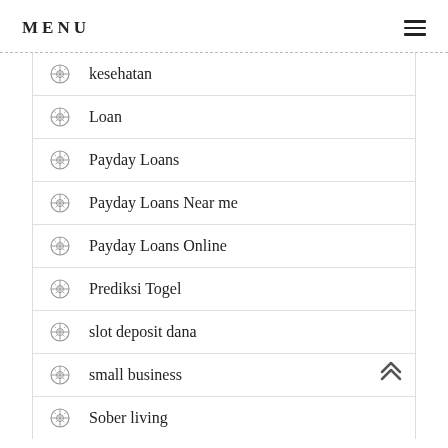MENU
kesehatan
Loan
Payday Loans
Payday Loans Near me
Payday Loans Online
Prediksi Togel
slot deposit dana
small business
Sober living